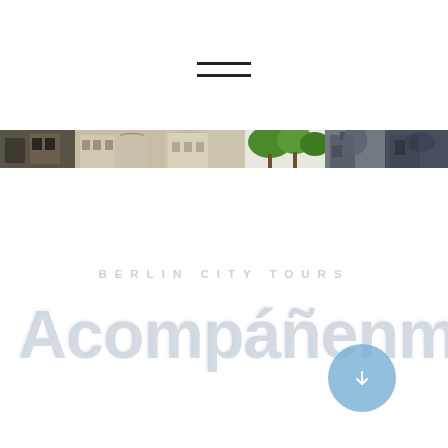[Figure (other): Hamburger menu icon (three horizontal lines) centered near top of page]
[Figure (photo): Horizontal photo strip showing Berlin city scenes: buildings, trees, street views]
BERLIN CITY TOURS
Acompáñenme...
[Figure (other): Blue circular button with downward arrow icon, positioned bottom right]